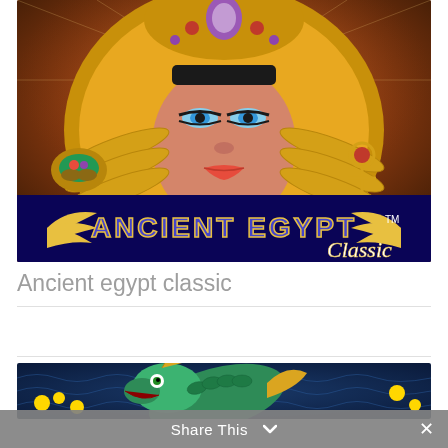[Figure (illustration): Ancient Egypt Classic slot game banner featuring Cleopatra with golden Egyptian headdress adorned with jewels, blue eye makeup, and the game logo text 'ANCIENT EGYPT Classic TM' at the bottom with golden wings]
Ancient egypt classic
[Figure (illustration): Partial view of a dragon-themed slot game banner showing a green dragon with gold accents against a dark blue background with wave patterns]
Share This ∨  ✕